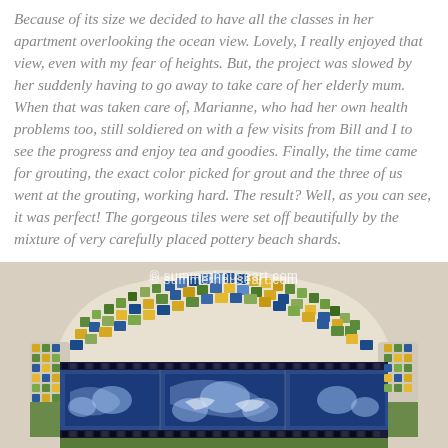Because of its size we decided to have all the classes in her apartment overlooking the ocean view. Lovely, I really enjoyed that view, even with my fear of heights. But, the project was slowed by her suddenly having to go away to take care of her elderly mum. When that was taken care of, Marianne, who had her own health problems too, still soldiered on with a few visits from Bill and I to see the progress and enjoy tea and goodies. Finally, the time came for grouting, the exact color picked for grout and the three of us went at the grouting, working hard. The result? Well, as you can see, it was perfect! The gorgeous tiles were set off beautifully by the mixture of very carefully placed pottery beach shards.
[Figure (photo): A decorative mosaic headboard with colorful ceramic tile and pottery shards in blue, green, yellow, and white patterns. The headboard features an arched top section with mixed mosaic tiles and a lower section with blue-and-white floral/bird patterned tiles. Watermark reads: © summerhouseart.com]